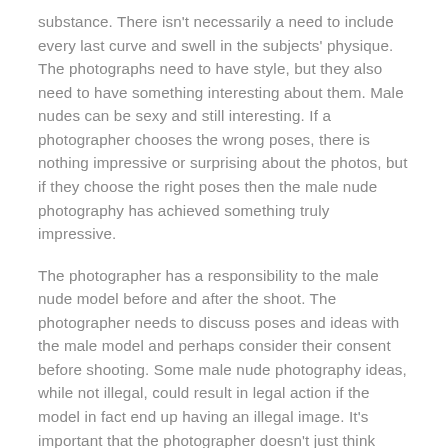substance. There isn't necessarily a need to include every last curve and swell in the subjects' physique. The photographs need to have style, but they also need to have something interesting about them. Male nudes can be sexy and still interesting. If a photographer chooses the wrong poses, there is nothing impressive or surprising about the photos, but if they choose the right poses then the male nude photography has achieved something truly impressive.
The photographer has a responsibility to the male nude model before and after the shoot. The photographer needs to discuss poses and ideas with the male model and perhaps consider their consent before shooting. Some male nude photography ideas, while not illegal, could result in legal action if the model in fact end up having an illegal image. It's important that the photographer doesn't just think about the money, but thinks about the photograph being something that will make the model happy.
Couples erotic photography